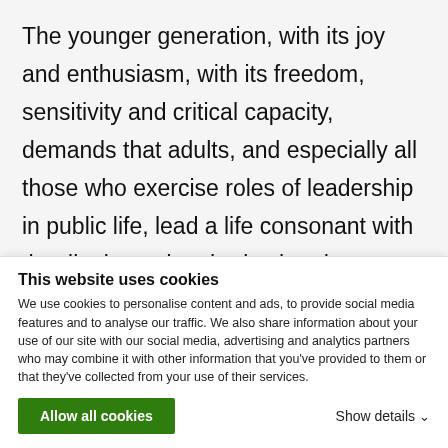The younger generation, with its joy and enthusiasm, with its freedom, sensitivity and critical capacity, demands that adults, and especially all those who exercise roles of leadership in public life, lead a life consonant with the dignity and authority that they possess and that has been entrusted to them. They call upon them to live in simplicity and transparency, with a clear sense of responsibility for others and for our world. To lead a life that
This website uses cookies
We use cookies to personalise content and ads, to provide social media features and to analyse our traffic. We also share information about your use of our site with our social media, advertising and analytics partners who may combine it with other information that you've provided to them or that they've collected from your use of their services.
Allow all cookies
Show details